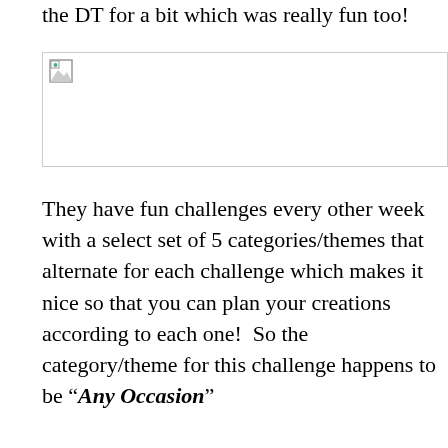the DT for a bit which was really fun too!
[Figure (other): Broken/missing image placeholder with small image icon in top-left corner]
They have fun challenges every other week with a select set of 5 categories/themes that alternate for each challenge which makes it nice so that you can plan your creations according to each one!  So the category/theme for this challenge happens to be “Any Occasion”